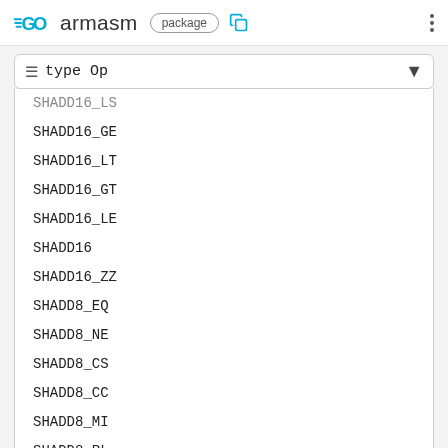GO armasm package
type Op
SHADD16_LS
SHADD16_GE
SHADD16_LT
SHADD16_GT
SHADD16_LE
SHADD16
SHADD16_ZZ
SHADD8_EQ
SHADD8_NE
SHADD8_CS
SHADD8_CC
SHADD8_MI
SHADD8_PL
SHADD8_VS
SHADD8_VC
SHADD8_HI
SHADD8_LS